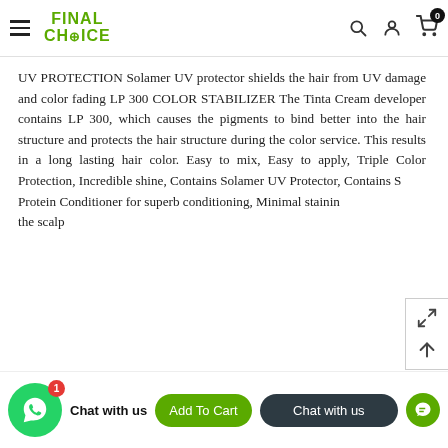Final Choice — navigation header with logo, search, user, cart icons
UV PROTECTION Solamer UV protector shields the hair from UV damage and color fading LP 300 COLOR STABILIZER The Tinta Cream developer contains LP 300, which causes the pigments to bind better into the hair structure and protects the hair structure during the color service. This results in a long lasting hair color. Easy to mix, Easy to apply, Triple Color Protection, Incredible shine, Contains Solamer UV Protector, Contains S Protein Conditioner for superb conditioning, Minimal staining the scalp
Chat with us | Add To Cart | Chat with us